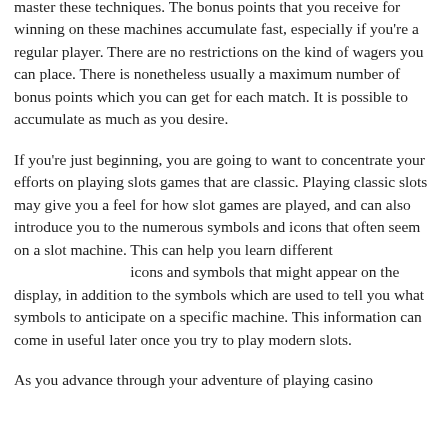master these techniques. The bonus points that you receive for winning on these machines accumulate fast, especially if you're a regular player. There are no restrictions on the kind of wagers you can place. There is nonetheless usually a maximum number of bonus points which you can get for each match. It is possible to accumulate as much as you desire.
If you're just beginning, you are going to want to concentrate your efforts on playing slots games that are classic. Playing classic slots may give you a feel for how slot games are played, and can also introduce you to the numerous symbols and icons that often seem on a slot machine. This can help you learn different icons and symbols that might appear on the display, in addition to the symbols which are used to tell you what symbols to anticipate on a specific machine. This information can come in useful later once you try to play modern slots.
As you advance through your adventure of playing casino